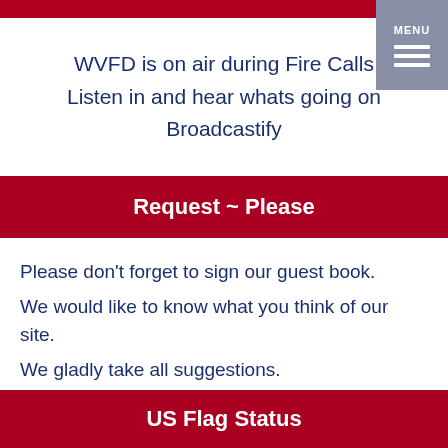MENU
WVFD is on air during Fire Calls
Listen in and hear whats going on
Broadcastify
Request ~ Please
Please don't forget to sign our guest book.
We would like to know what you think of our site.
We gladly take all suggestions.
US Flag Status